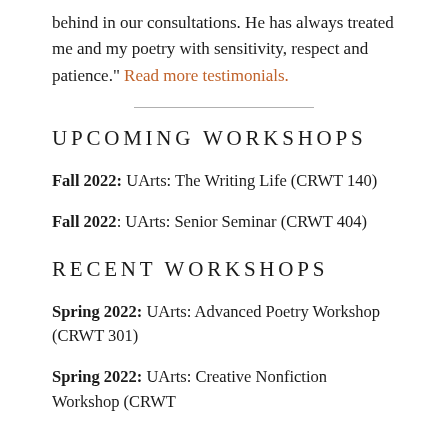behind in our consultations. He has always treated me and my poetry with sensitivity, respect and patience." Read more testimonials.
UPCOMING WORKSHOPS
Fall 2022: UArts: The Writing Life (CRWT 140)
Fall 2022: UArts: Senior Seminar (CRWT 404)
RECENT WORKSHOPS
Spring 2022: UArts: Advanced Poetry Workshop (CRWT 301)
Spring 2022: UArts: Creative Nonfiction Workshop (CRWT